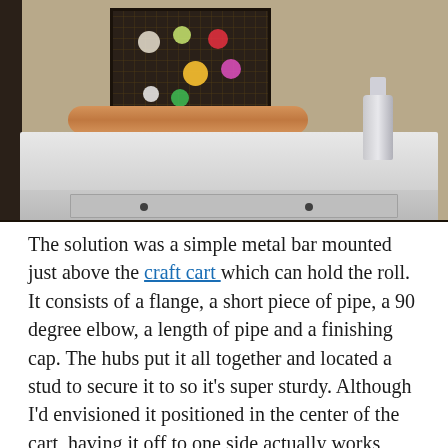[Figure (photo): A white craft cart with a drawer, a kraft paper roll resting on top, and a water bottle on the right side. On the wall behind the cart is a decorative wire frame grid with colorful pom-poms attached. The image is taken indoors against a beige/tan wall.]
The solution was a simple metal bar mounted just above the craft cart which can hold the roll. It consists of a flange, a short piece of pipe, a 90 degree elbow, a length of pipe and a finishing cap. The hubs put it all together and located a stud to secure it to so it's super sturdy. Although I'd envisioned it positioned in the center of the cart, having it off to one side actually works because